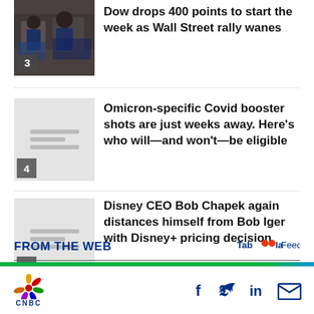[Figure (photo): Stock market traders on trading floor]
Dow drops 400 points to start the week as Wall Street rally wanes
[Figure (photo): Placeholder image with number badge 4]
Omicron-specific Covid booster shots are just weeks away. Here’s who will—and won’t—be eligible
[Figure (photo): Placeholder image with number badge 5]
Disney CEO Bob Chapek again distances himself from Bob Iger with Disney+ pricing decision
FROM THE WEB
Taboola Feed
CNBC